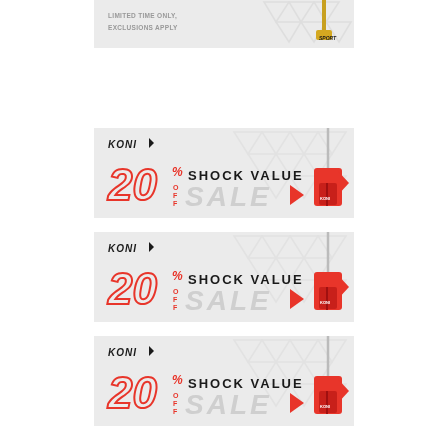[Figure (illustration): Partial KONI banner at top with text LIMITED TIME ONLY, EXCLUSIONS APPLY and a gold KONI Sport shock absorber on a light grey background with triangle pattern]
[Figure (illustration): KONI 20% OFF Shock Value Sale banner with red outlined 20, red OFF%, bold SHOCK VALUE text, grey SALE text, red shock absorber illustration, and triangle background pattern]
[Figure (illustration): KONI 20% OFF Shock Value Sale banner (duplicate) with red outlined 20, red OFF%, bold SHOCK VALUE text, grey SALE text, red shock absorber illustration, and triangle background pattern]
[Figure (illustration): KONI 20% OFF Shock Value Sale banner (duplicate) with red outlined 20, red OFF%, bold SHOCK VALUE text, grey SALE text, red shock absorber illustration, and triangle background pattern]